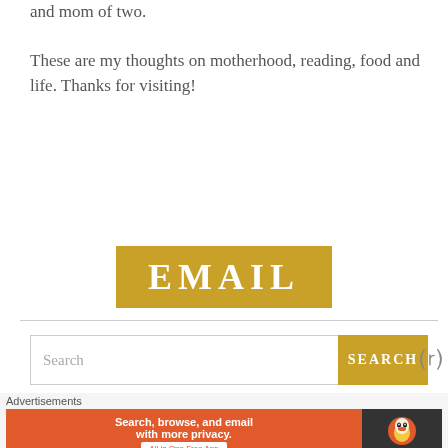and mom of two.

These are my thoughts on motherhood, reading, food and life. Thanks for visiting!
[Figure (illustration): Golden/amber colored button with white serif text reading EMAIL]
[Figure (illustration): Golden/amber colored button with white serif text reading INSTAGRAM]
[Figure (screenshot): Search bar with text input placeholder 'Search' and a golden SEARCH button, with a close (X) icon]
[Figure (screenshot): Advertisement banner: DuckDuckGo ad with orange left side reading 'Search, browse, and email with more privacy. All in One Free App' and dark right side with DuckDuckGo logo]